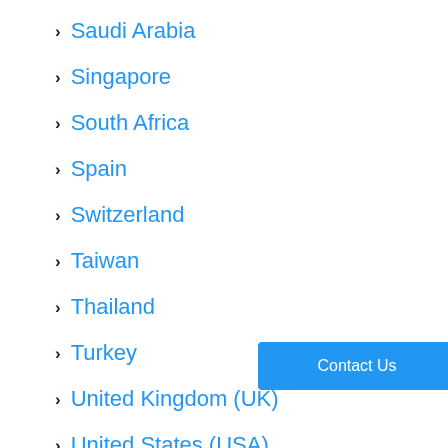Saudi Arabia
Singapore
South Africa
Spain
Switzerland
Taiwan
Thailand
Turkey
United Kingdom (UK)
United States (USA)
Venezuela
Vie...